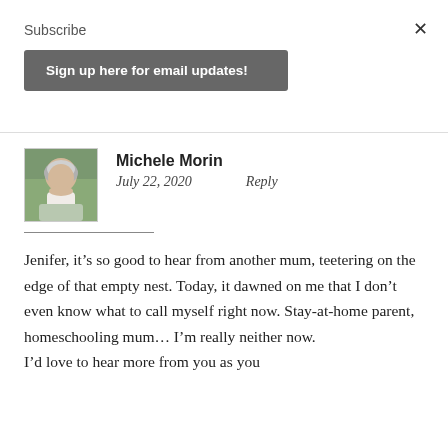Subscribe
Sign up here for email updates!
Michele Morin
July 22, 2020    Reply
Jenifer, it’s so good to hear from another mum, teetering on the edge of that empty nest. Today, it dawned on me that I don’t even know what to call myself right now. Stay-at-home parent, homeschooling mum… I’m really neither now.
I’d love to hear more from you as you